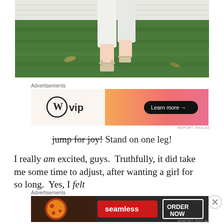[Figure (photo): Photo of a person's legs from the knee down, wearing white pants and strappy sandals, standing on one leg on green grass near a white-painted wall.]
Advertisements
[Figure (other): WordPress VIP advertisement banner with orange-pink gradient and 'Learn more →' button on dark pill.]
REPORT THIS AD
jump for joy! Stand on one leg!
I really am excited, guys.  Truthfully, it did take me some time to adjust, after wanting a girl for so long.  Yes, I felt
Advertisements
[Figure (other): Seamless food delivery advertisement banner showing pizza slices on left, Seamless red logo in center, and 'ORDER NOW' button with white border on right.]
REPORT THIS AD